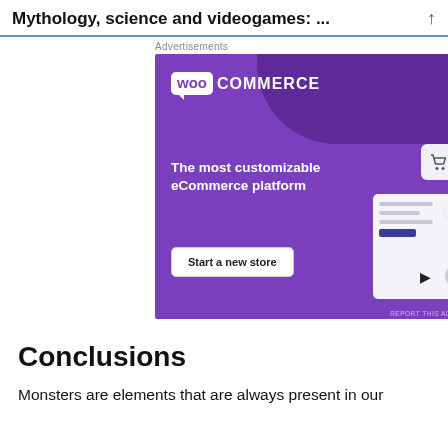Mythology, science and videogames: ...
Advertisements
[Figure (illustration): WooCommerce advertisement banner with purple background. Shows WooCommerce logo at top left, tagline 'The most customizable eCommerce platform', a 'Start a new store' button, and UI mockup elements on the right including a shopping cart icon, text lines, and cursor. Bottom right shows 'REPORT THIS AD'.]
Conclusions
Monsters are elements that are always present in our